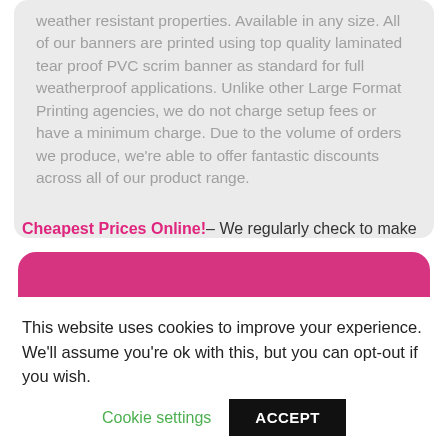weather resistant properties. Available in any size. All of our banners are printed using top quality laminated tear proof PVC scrim banner as standard for full weatherproof applications. Unlike other Large Format Printing agencies, we do not charge setup fees or have a minimum charge. Due to the volume of orders we produce, we're able to offer fantastic discounts across all of our product range.
Cheapest Prices Online! – We regularly check to make
[Figure (other): Pink/magenta rounded rectangle banner with white bold text reading 'Cheapest Prices Online']
Premium Quality! – We print using the latest hi
This website uses cookies to improve your experience. We'll assume you're ok with this, but you can opt-out if you wish.
Cookie settings   ACCEPT